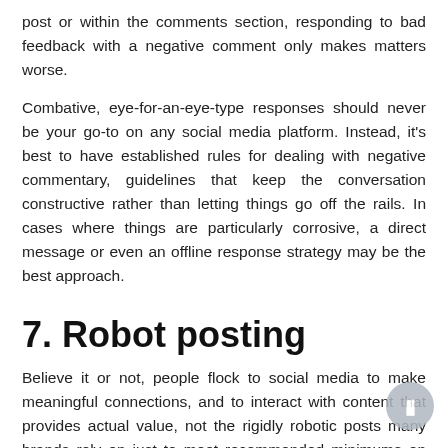post or within the comments section, responding to bad feedback with a negative comment only makes matters worse.
Combative, eye-for-an-eye-type responses should never be your go-to on any social media platform. Instead, it's best to have established rules for dealing with negative commentary, guidelines that keep the conversation constructive rather than letting things go off the rails. In cases where things are particularly corrosive, a direct message or even an offline response strategy may be the best approach.
7. Robot posting
Believe it or not, people flock to social media to make meaningful connections, and to interact with content that provides actual value, not the rigidly robotic posts many brands rely on just to meet recommended minimums on social activity. Engaging with customers one-on-one and demonstrating authenticity and empathy through personal interaction is key to avoiding the forced, formulaic approach many customers can recognize a mile away.